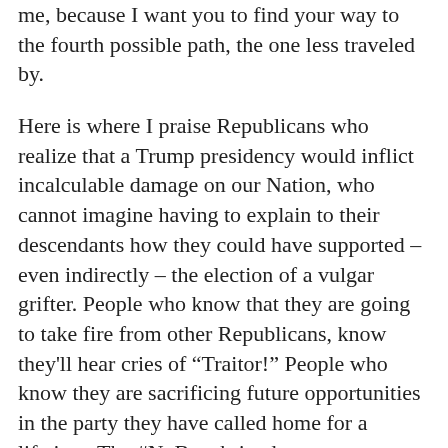me, because I want you to find your way to the fourth possible path, the one less traveled by.
Here is where I praise Republicans who realize that a Trump presidency would inflict incalculable damage on our Nation, who cannot imagine having to explain to their descendants how they could have supported – even indirectly – the election of a vulgar grifter. People who know that they are going to take fire from other Republicans, know they'll hear cries of “Traitor!” People who know they are sacrificing future opportunities in the party they have called home for a lifetime. The #NoButs brigade.
We can also call them Patriots.
I recently struck up a friendship with a long-time member of the conservative GOP establishment.